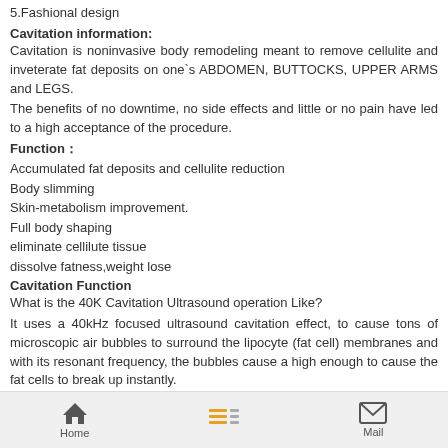5.Fashional design
Cavitation information:
Cavitation is noninvasive body remodeling meant to remove cellulite and inveterate fat deposits on one`s ABDOMEN, BUTTOCKS, UPPER ARMS and LEGS.
The benefits of no downtime, no side effects and little or no pain have led to a high acceptance of the procedure.
Function：
Accumulated fat deposits and cellulite reduction
Body slimming
Skin-metabolism improvement.
Full body shaping
eliminate cellilute tissue
dissolve fatness,weight lose
Cavitation Function
What is the 40K Cavitation Ultrasound operation Like?
It uses a 40kHz focused ultrasound cavitation effect, to cause tons of microscopic air bubbles to surround the lipocyte (fat cell) membranes and with its resonant frequency, the bubbles cause a high enough to cause the fat cells to break up instantly.
The broken lipocytes are then moved to the liver and safely metabolized out of human body which is assisted by drinking a lot of water.
Home  Mail